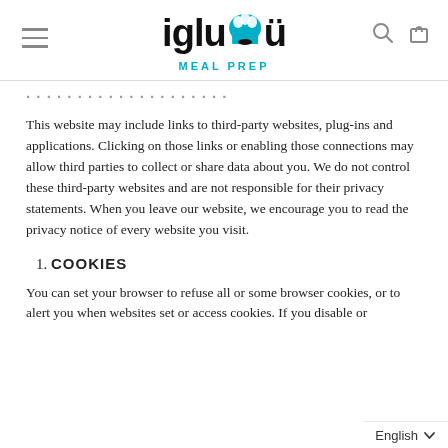igluu MEAL PREP (logo with navigation icons)
THIRD PARTY LINKS (partially visible)
This website may include links to third-party websites, plug-ins and applications. Clicking on those links or enabling those connections may allow third parties to collect or share data about you. We do not control these third-party websites and are not responsible for their privacy statements. When you leave our website, we encourage you to read the privacy notice of every website you visit.
1. COOKIES
You can set your browser to refuse all or some browser cookies, or to alert you when websites set or access cookies. If you disable or...